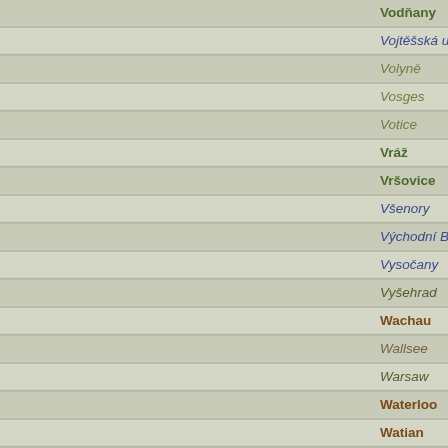Vodňany
Vojtěšská ulice
Volyně
Vosges
Votice
Vráž
Vršovice
Všenory
Východní Beskydy
Vysočany
Vyšehrad
Wachau
Wallsee
Warsaw
Waterloo
Watian